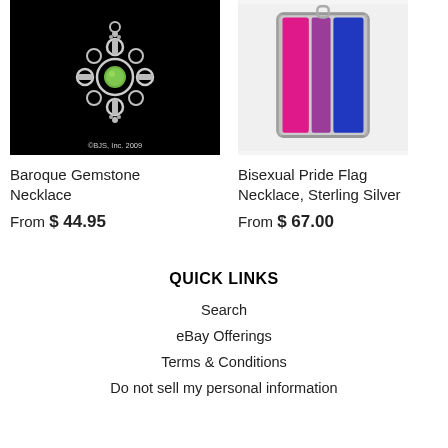[Figure (photo): Baroque Gemstone Necklace - silver ornate pendant with green gemstone center on black background, copyright BJS Inc. 2009]
[Figure (photo): Bisexual Pride Flag Necklace in Sterling Silver - rectangular pendant with pink, purple, and blue vertical stripes]
Baroque Gemstone Necklace
From $ 44.95
Bisexual Pride Flag Necklace, Sterling Silver
From $ 67.00
QUICK LINKS
Search
eBay Offerings
Terms & Conditions
Do not sell my personal information